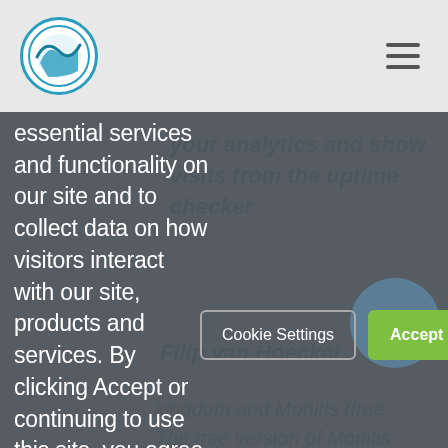[Figure (logo): Circular logo with mountain/wave icon in teal and blue on white background]
[Figure (infographic): Hamburger menu icon (three horizontal lines) in top right corner]
your analytics and show visits from the uptime checker
essential services and functionality on our site and to collect data on how visitors interact with our site, products and services. By clicking Accept or continuing to use this site, you agree to our use of these tools for advertising and analytics
Filip van Hoeckel
kingdom and Monitis (free. The free version of Monitis already brings a lot to the table, and thanks to the (Android) App...
[Figure (infographic): Cookie consent dialog with Cookie Settings and Accept Cookies buttons over dark overlay]